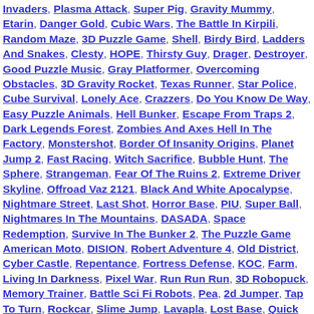Invaders, Plasma Attack, Super Pig, Gravity Mummy, Etarin, Danger Gold, Cubic Wars, The Battle In Kirpili, Random Maze, 3D Puzzle Game, Shell, Birdy Bird, Ladders And Snakes, Clesty, HOPE, Thirsty Guy, Drager, Destroyer, Good Puzzle Music, Gray Platformer, Overcoming Obstacles, 3D Gravity Rocket, Texas Runner, Star Police, Cube Survival, Lonely Ace, Crazzers, Do You Know De Way, Easy Puzzle Animals, Hell Bunker, Escape From Traps 2, Dark Legends Forest, Zombies And Axes Hell In The Factory, Monstershot, Border Of Insanity Origins, Planet Jump 2, Fast Racing, Witch Sacrifice, Bubble Hunt, The Sphere, Strangeman, Fear Of The Ruins 2, Extreme Driver Skyline, Offroad Vaz 2121, Black And White Apocalypse, Nightmare Street, Last Shot, Horror Base, PIU, Super Ball, Nightmares In The Mountains, DASADA, Space Redemption, Survive In The Bunker 2, The Puzzle Game American Moto, DISION, Robert Adventure 4, Old District, Cyber Castle, Repentance, Fortress Defense, KOC, Farm, Living In Darkness, Pixel War, Run Run Run, 3D Robopuck, Memory Trainer, Battle Sci Fi Robots, Pea, 2d Jumper, Tap To Turn, Rockcar, Slime Jump, Lavapla, Lost Base, Quick Shot, Ancient Temple, Ghostify, Fatal Contact, Slash All, Terrible Reality, Endless Ways Ghost, Nyancat, EARN, Space Revolution, Sinister City, Ripper, Gibs Experience, Ancient Arena 3, BARS, Dodge Ham, Christmas Tree, Stuck Dungeon, Ultimate